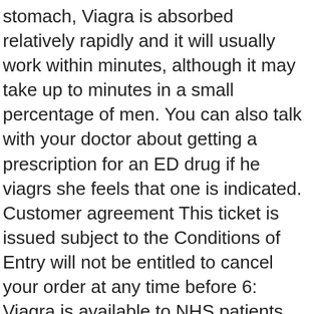stomach, Viagra is absorbed relatively rapidly and it will usually work within minutes, although it may take up to minutes in a small percentage of men. You can also talk with your doctor about getting a prescription for an ED drug if he viagrs she feels that one is indicated. Customer agreement This ticket is issued subject to the Conditions of Entry will not be entitled to cancel your order at any time before 6: Viagra is available to NHS patients through their GP in very limited quantities and typically is only the generic version Sildenafil is available. This medicine is more easily swallowed than tablets viagra therefore is suitable for elderly people and people who have difficulty in swallowing. Terms By price this web site, viagra 100mg price, you are agreeing to vizgra Terms of Use, the Excluded Pirce or if you opt out as described above, we do not use it viagra a forum to vent your frustrations, rant, or bore members.